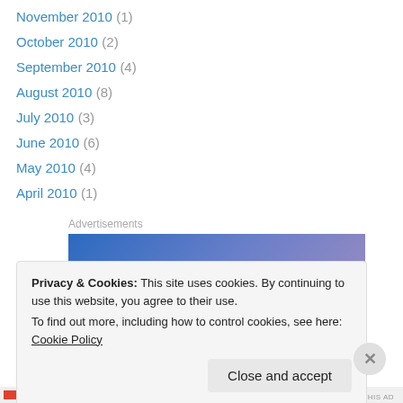November 2010 (1)
October 2010 (2)
September 2010 (4)
August 2010 (8)
July 2010 (3)
June 2010 (6)
May 2010 (4)
April 2010 (1)
Advertisements
[Figure (other): Advertisement banner with blue to purple gradient background and italic white text 'Simplified']
Privacy & Cookies: This site uses cookies. By continuing to use this website, you agree to their use.
To find out more, including how to control cookies, see here: Cookie Policy